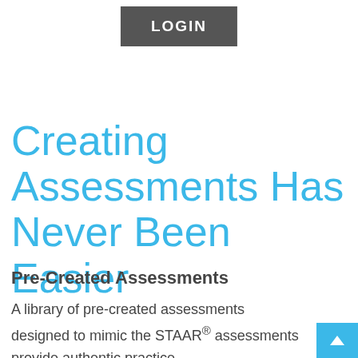[Figure (other): LOGIN button — dark grey rectangle with white bold text 'LOGIN']
Creating Assessments Has Never Been Easier
Pre-Created Assessments
A library of pre-created assessments designed to mimic the STAAR® assessments provide authentic practice.